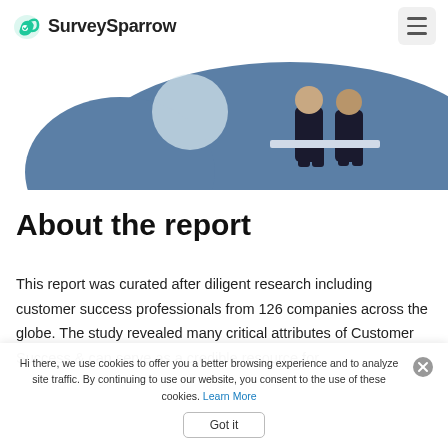SurveySparrow
[Figure (illustration): Decorative illustration with a blue organic shape and two figures (people) sitting, partially visible at the top of the page]
About the report
This report was curated after diligent research including customer success professionals from 126 companies across the globe. The study revealed many critical attributes of Customer Success & can serve as a credible resource for
Hi there, we use cookies to offer you a better browsing experience and to analyze site traffic. By continuing to use our website, you consent to the use of these cookies. Learn More
Got it